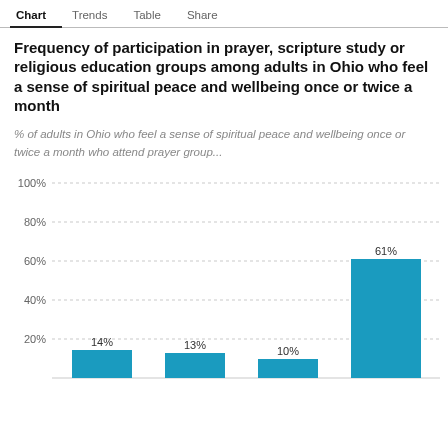Chart | Trends | Table | Share
Frequency of participation in prayer, scripture study or religious education groups among adults in Ohio who feel a sense of spiritual peace and wellbeing once or twice a month
% of adults in Ohio who feel a sense of spiritual peace and wellbeing once or twice a month who attend prayer group...
[Figure (bar-chart): Frequency of participation in prayer, scripture study or religious education groups among adults in Ohio who feel a sense of spiritual peace and wellbeing once or twice a month]